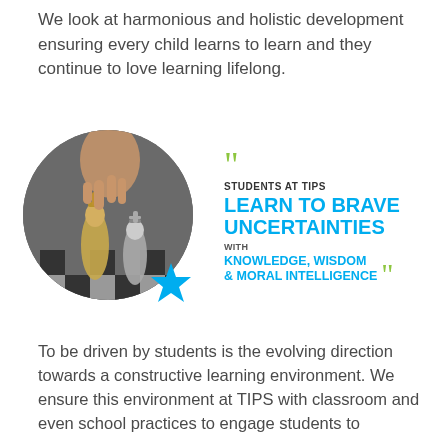We look at harmonious and holistic development ensuring every child learns to learn and they continue to love learning lifelong.
[Figure (photo): A circular cropped photo of chess pieces on a board, with a hand moving a gold king piece, surrounded by decorative star shapes in green, orange, and blue.]
STUDENTS AT TIPS LEARN TO BRAVE UNCERTAINTIES with KNOWLEDGE, WISDOM & MORAL INTELLIGENCE
To be driven by students is the evolving direction towards a constructive learning environment. We ensure this environment at TIPS with classroom and even school practices to engage students to